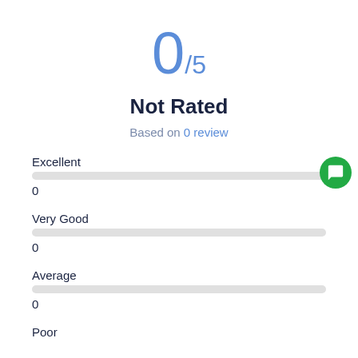0/5
Not Rated
Based on 0 review
Excellent
0
Very Good
0
Average
0
Poor